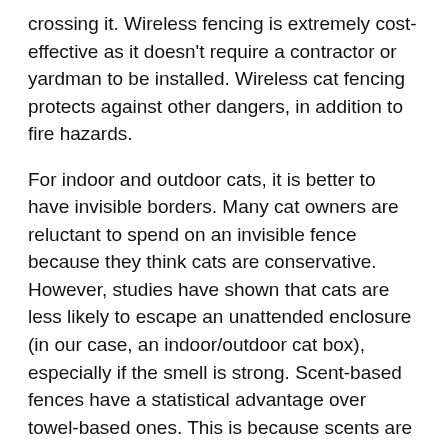crossing it. Wireless fencing is extremely cost-effective as it doesn't require a contractor or yardman to be installed. Wireless cat fencing protects against other dangers, in addition to fire hazards.
For indoor and outdoor cats, it is better to have invisible borders. Many cat owners are reluctant to spend on an invisible fence because they think cats are conservative. However, studies have shown that cats are less likely to escape an unattended enclosure (in our case, an indoor/outdoor cat box), especially if the smell is strong. Scent-based fences have a statistical advantage over towel-based ones. This is because scents are based upon the body's instincts to mark territory. An invisible fence can be used to keep your cat in a specific area or to deter unwanted visitors. You can check out this link critterfence.com/wire-fence.